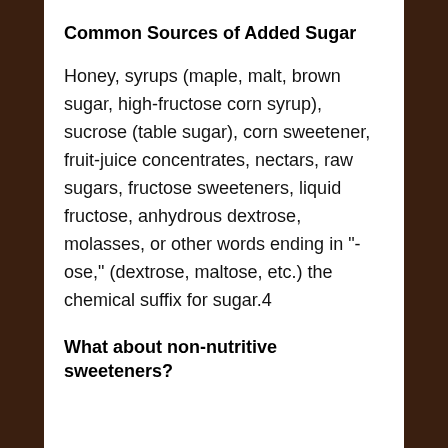Common Sources of Added Sugar
Honey, syrups (maple, malt, brown sugar, high-fructose corn syrup), sucrose (table sugar), corn sweetener, fruit-juice concentrates, nectars, raw sugars, fructose sweeteners, liquid fructose, anhydrous dextrose, molasses, or other words ending in "-ose," (dextrose, maltose, etc.) the chemical suffix for sugar.4
What about non-nutritive sweeteners?